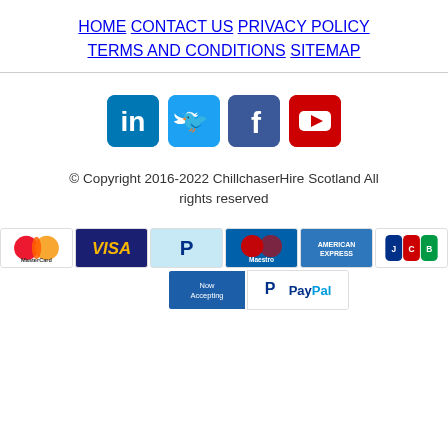HOME   CONTACT US   PRIVACY POLICY   TERMS AND CONDITIONS   SITEMAP
[Figure (logo): Social media icons: LinkedIn, Twitter, Facebook, YouTube]
© Copyright 2016-2022 ChillchaserHire Scotland All rights reserved
[Figure (logo): Payment method badges: MasterCard, VISA, PayPal, Maestro, American Express, JCB, Now Accepting PayPal]